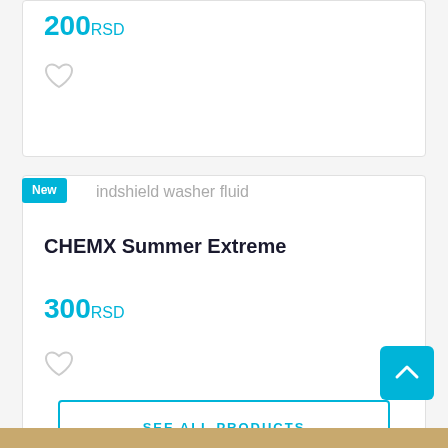200 RSD
New
indshield washer fluid
CHEMX Summer Extreme
300 RSD
SEE ALL PRODUCTS